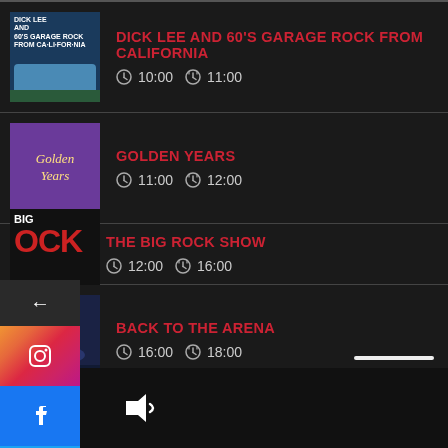DICK LEE AND 60'S GARAGE ROCK FROM CALIFORNIA — 10:00 to 11:00
GOLDEN YEARS — 11:00 to 12:00
THE BIG ROCK SHOW — 12:00 to 16:00
BACK TO THE ARENA — 16:00 to 18:00
[Figure (screenshot): Social media share buttons sidebar: back arrow, Instagram, Facebook, Twitter]
[Figure (screenshot): Bottom navigation bar with search and volume icons]